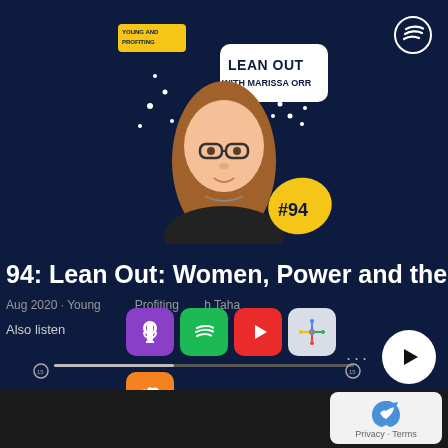[Figure (screenshot): Spotify podcast player screenshot showing 'Lean Out with Marissa Orr' episode #94 cover art with illustrated woman, speech bubble, yellow accent, on dark navy background]
94: Lean Out: Women, Power and the
Aug 2020 · Young and Profiting with Taha
Also listen
[Figure (logo): Apple Podcasts purple icon]
[Figure (logo): Spotify green icon]
[Figure (logo): YouTube red icon]
[Figure (logo): Google Podcasts colorful icon]
[Figure (logo): SoundCloud orange icon]
[Figure (logo): Privacy reCAPTCHA badge, Privacy · Terms]